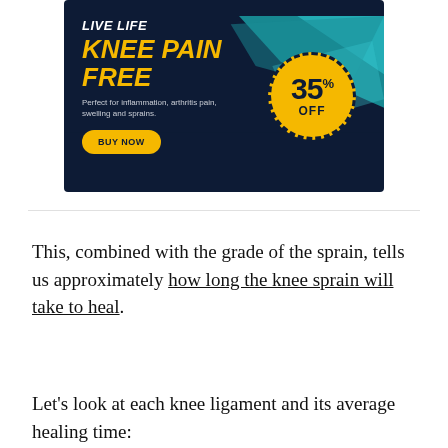[Figure (infographic): Advertisement banner for knee pain product: dark navy background with decorative teal/blue geometric shapes. Left side shows text 'LIVE LIFE KNEE PAIN FREE' in white and yellow italic bold, subtext 'Perfect for inflammation, arthritis pain, swelling and sprains.', and a 'BUY NOW' yellow button. Right side features a yellow dashed circle with '35% OFF' in bold dark text.]
This, combined with the grade of the sprain, tells us approximately how long the knee sprain will take to heal.
Let's look at each knee ligament and its average healing time: